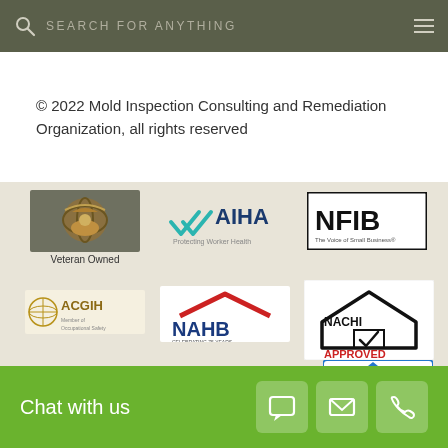SEARCH FOR ANYTHING
© 2022 Mold Inspection Consulting and Remediation Organization, all rights reserved
[Figure (logo): Veteran Owned badge with USMC Eagle Globe and Anchor emblem]
[Figure (logo): AIHA – Protecting Worker Health logo]
[Figure (logo): NFIB – The Voice of Small Business logo]
[Figure (logo): ACGIH member logo]
[Figure (logo): NAHB – Celebrating 75 Years logo]
[Figure (logo): NACHI Approved logo]
[Figure (logo): Accredited Business logo (partially visible)]
Chat with us